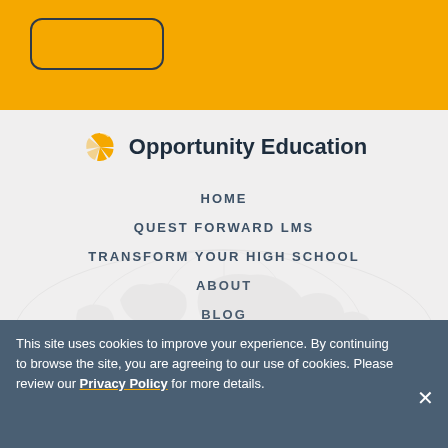[Figure (other): Yellow header bar with a rounded-rectangle outline box (navigation toggle button)]
[Figure (logo): Opportunity Education logo: orange segmented circle icon next to bold dark text 'Opportunity Education']
HOME
QUEST FORWARD LMS
TRANSFORM YOUR HIGH SCHOOL
ABOUT
BLOG
CONTACT
This site uses cookies to improve your experience. By continuing to browse the site, you are agreeing to our use of cookies. Please review our Privacy Policy for more details.